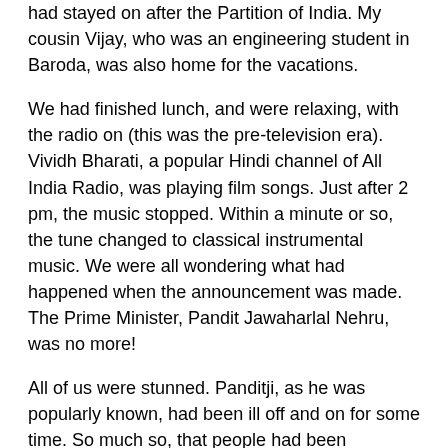had stayed on after the Partition of India. My cousin Vijay, who was an engineering student in Baroda, was also home for the vacations.
We had finished lunch, and were relaxing, with the radio on (this was the pre-television era). Vividh Bharati, a popular Hindi channel of All India Radio, was playing film songs. Just after 2 pm, the music stopped. Within a minute or so, the tune changed to classical instrumental music. We were all wondering what had happened when the announcement was made. The Prime Minister, Pandit Jawaharlal Nehru, was no more!
All of us were stunned. Panditji, as he was popularly known, had been ill off and on for some time. So much so, that people had been debating who would take his place if something happened to him. The Illustrated Weekly, a popular magazine, had even brought out a whole issue to discuss 'After Nehru Who?' Pandit Nehru had been the Prime Minister of India ever since the country's Independence in 1947 - a total of 17 years. It was difficult to imagine India without him at the helm.
All of us remained glued to the radio, waiting for more news. No one spoke. There was nothing to say. The